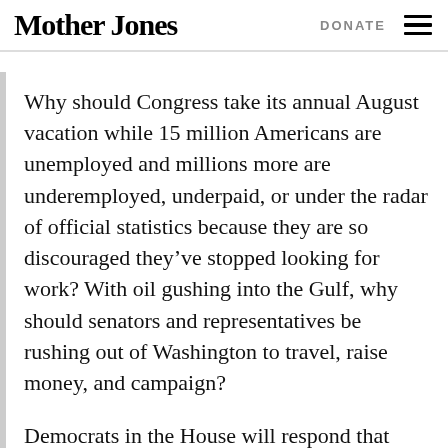Mother Jones   DONATE
Why should Congress take its annual August vacation while 15 million Americans are unemployed and millions more are underemployed, underpaid, or under the radar of official statistics because they are so discouraged they’ve stopped looking for work? With oil gushing into the Gulf, why should senators and representatives be rushing out of Washington to travel, raise money, and campaign?
Democrats in the House will respond that they’ve done their job; the Senate is the roadblock. Democrats in the Senate will plead that they’ve only been met by willful GOP...